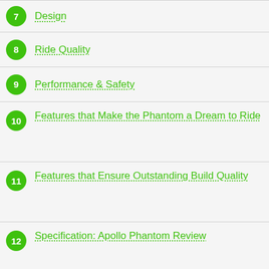7 Design
8 Ride Quality
9 Performance & Safety
10 Features that Make the Phantom a Dream to Ride
11 Features that Ensure Outstanding Build Quality
12 Specification: Apollo Phantom Review
13 Warranty & Post-Purchase Support